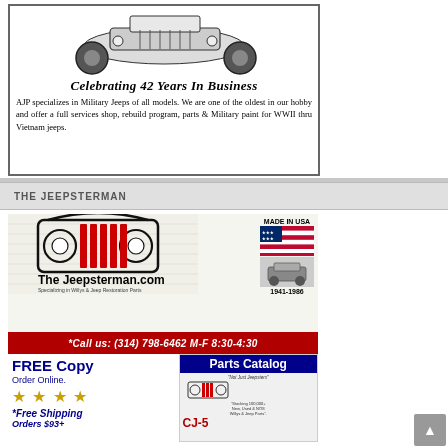[Figure (illustration): Black and white illustration of a military jeep, top view/front angle]
Celebrating 42 Years In Business
AJP specializes in Military Jeeps of all models. We are one of the oldest in our hobby and offer a full services shop, rebuild program, parts & Military paint for WWII thru Vietnam jeeps.
THE JEEPSTERMAN
[Figure (logo): The Jeepsterman logo with jeep grille graphic, MADE IN USA flag, jeep image, phone number bar, free copy offer with stars, and parts catalog image]
*Call us: (314) 798-6462 M-F 8:30-4:30
FREE Copy Order Online. *Free Shipping Orders $93+